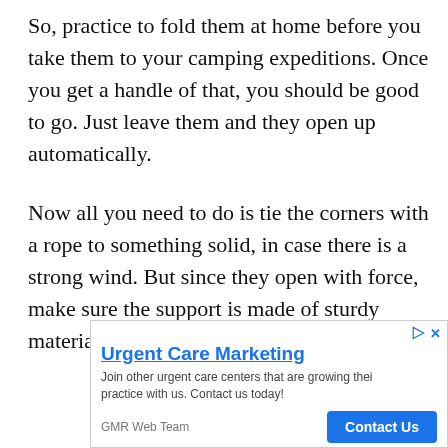So, practice to fold them at home before you take them to your camping expeditions. Once you get a handle of that, you should be good to go. Just leave them and they open up automatically.
Now all you need to do is tie the corners with a rope to something solid, in case there is a strong wind. But since they open with force, make sure the support is made of sturdy material.
[Figure (other): Advertisement banner for Urgent Care Marketing by GMR Web Team. Title: 'Urgent Care Marketing'. Body: 'Join other urgent care centers that are growing their practice with us. Contact us today!' Button: 'Contact Us'.]